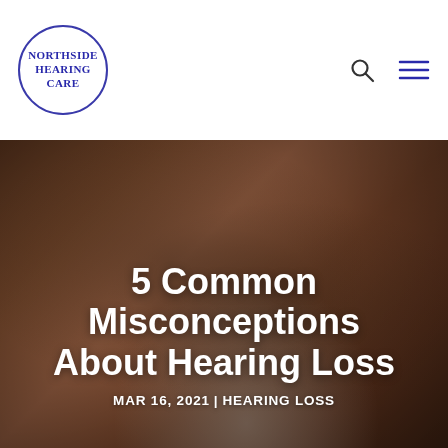[Figure (logo): Northside Hearing Care circular logo with blue text]
[Figure (photo): Elderly couple looking at a laptop together in a warm kitchen setting with brick wall background]
5 Common Misconceptions About Hearing Loss
MAR 16, 2021 | HEARING LOSS